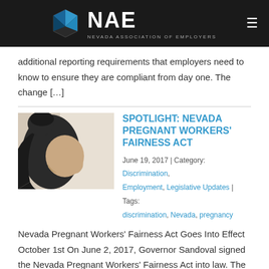NAE - Nevada Association of Employers
additional reporting requirements that employers need to know to ensure they are compliant from day one. The change […]
SPOTLIGHT: NEVADA PREGNANT WORKERS' FAIRNESS ACT
[Figure (photo): Pregnant woman in profile against a light background, wearing a dark outfit, cradling her belly.]
June 19, 2017 | Category: Discrimination, Employment, Legislative Updates | Tags: discrimination, Nevada, pregnancy
Nevada Pregnant Workers' Fairness Act Goes Into Effect October 1st On June 2, 2017, Governor Sandoval signed the Nevada Pregnant Workers' Fairness Act into law. The Nevada Pregnant Workers' Fairness Act requires employers with 15 or more employees to treat female employees and applicants for employment who are affected by pregnancy, childbirth, or related medical […]